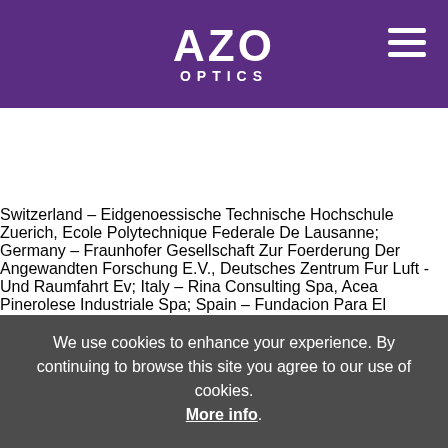AZO OPTICS
[Figure (screenshot): Social sharing bar with LinkedIn, Facebook, Twitter, Reddit, and Email icons]
Switzerland – Eidgenoessische Technische Hochschule Zuerich, Ecole Polytechnique Federale De Lausanne; Germany – Fraunhofer Gesellschaft Zur Foerderung Der Angewandten Forschung E.V., Deutsches Zentrum Fur Luft - Und Raumfahrt Ev; Italy – Rina Consulting Spa, Acea Pinerolese Industriale Spa; Spain – Fundacion Para El Desarrollo De Las
We use cookies to enhance your experience. By continuing to browse this site you agree to our use of cookies. More info. Accept Cookie Settings